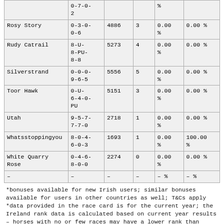| Horse | Form | Rating | Races | Win% | Place% |
| --- | --- | --- | --- | --- | --- |
|  | 0-7-0-2 |  |  | % |  |
| Rosy Story | 0-3-0-0-6 | 4886 | 3 | 0.00 % | 0.00 % |
| Rudy Catrail | 8-U-8-PU-8-8 | 5273 | 4 | 0.00 % | 0.00 % |
| Silverstrand | 0-0-0-9-6-5 | 5556 | 5 | 0.00 % | 0.00 % |
| Toor Hawk | 0-U-6-4-0-PU | 5151 | 3 | 0.00 % | 0.00 % |
| Utah | 9-5-7-7-7-0 | 2718 | 1 | 0.00 % | 0.00 % |
| Whatsstoppingyou | 8-0-4-6-0-3 | 1693 | 1 | 0.00 % | 100.00 % |
| White Quarry Rose | 0-4-6-8-0-0 | 2274 | 0 | 0.00 % | 0.00 % |
| – | – | – | – | – % | – % |
*bonuses available for new Irish users; similar bonuses available for users in other countries as well; T&Cs apply
*data provided in the race card is for the current year; the Ireland rank data is calculated based on current year results – horses with no or few races may have a lower rank than their performance
After the race, you may want to check the results for the